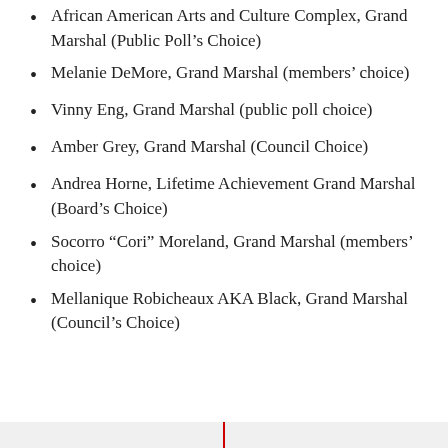African American Arts and Culture Complex, Grand Marshal (Public Poll’s Choice)
Melanie DeMore, Grand Marshal (members’ choice)
Vinny Eng, Grand Marshal (public poll choice)
Amber Grey, Grand Marshal (Council Choice)
Andrea Horne, Lifetime Achievement Grand Marshal (Board’s Choice)
Socorro “Cori” Moreland, Grand Marshal (members’ choice)
Mellanique Robicheaux AKA Black, Grand Marshal (Council’s Choice)